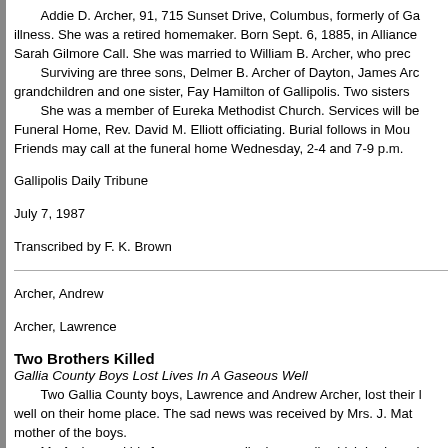Addie D. Archer, 91, 715 Sunset Drive, Columbus, formerly of Ga... illness. She was a retired homemaker. Born Sept. 6, 1885, in Alliance... Sarah Gilmore Call. She was married to William B. Archer, who prec... Surviving are three sons, Delmer B. Archer of Dayton, James Arc... grandchildren and one sister, Fay Hamilton of Gallipolis. Two sisters... She was a member of Eureka Methodist Church. Services will be... Funeral Home, Rev. David M. Elliott officiating. Burial follows in Mou... Friends may call at the funeral home Wednesday, 2-4 and 7-9 p.m.
Gallipolis Daily Tribune
July 7, 1987
Transcribed by F. K. Brown
Archer, Andrew
Archer, Lawrence
Two Brothers Killed
Gallia County Boys Lost Lives In A Gaseous Well
Two Gallia County boys, Lawrence and Andrew Archer, lost their l... well on their home place. The sad news was received by Mrs. J. Mat... mother of the boys.
    Mr. Archer and his four sons were digging a well, which had reach... Lawrence went down to bail it out. As soon as he reached the bottom... his assistance, but was overcome by the black damp gas with which... family realized what the trouble was and made every effort to bring th... the bodies were taken out after midnight, but the spark of life had flee...
    Lawrence was 23 and Andrew 18 years of age and both were bor...